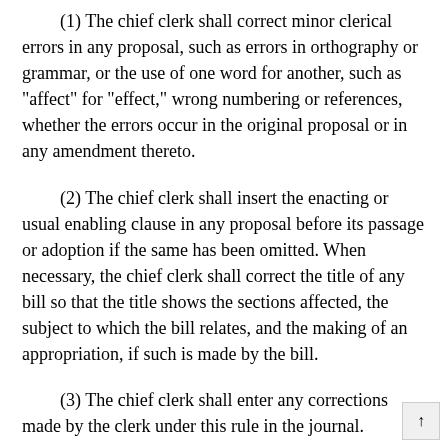(1) The chief clerk shall correct minor clerical errors in any proposal, such as errors in orthography or grammar, or the use of one word for another, such as "affect" for "effect," wrong numbering or references, whether the errors occur in the original proposal or in any amendment thereto.
(2) The chief clerk shall insert the enacting or usual enabling clause in any proposal before its passage or adoption if the same has been omitted. When necessary, the chief clerk shall correct the title of any bill so that the title shows the sections affected, the subject to which the bill relates, and the making of an appropriation, if such is made by the bill.
(3) The chief clerk shall enter any corrections made by the clerk under this rule in the journal.